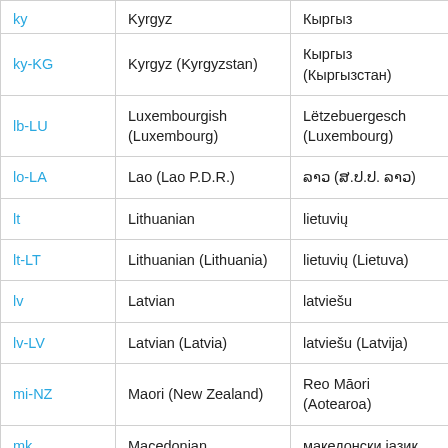| Code | English Name | Native Name |
| --- | --- | --- |
| ky | Kyrgyz | Кыргыз |
| ky-KG | Kyrgyz (Kyrgyzstan) | Кыргыз (Кыргызстан) |
| lb-LU | Luxembourgish (Luxembourg) | Lëtzebuergesch (Luxembourg) |
| lo-LA | Lao (Lao P.D.R.) | ລາວ (ສ.ປ.ປ. ລາວ) |
| lt | Lithuanian | lietuvių |
| lt-LT | Lithuanian (Lithuania) | lietuvių (Lietuva) |
| lv | Latvian | latviešu |
| lv-LV | Latvian (Latvia) | latviešu (Latvija) |
| mi-NZ | Maori (New Zealand) | Reo Māori (Aotearoa) |
| mk | Macedonian | македонски јазик |
| mk-MK | Macedonian (Former Yugoslav Republic of Macedonia) | македонски јазик (Македонија) |